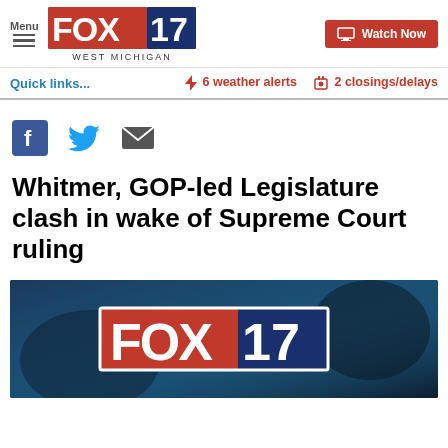[Figure (logo): FOX 17 West Michigan logo with red and blue branding]
Watch Now
Quick links...
⚡ 6 weather alerts
🏠 2 closings/delays
[Figure (other): Facebook, Twitter, and Email share icons]
Whitmer, GOP-led Legislature clash in wake of Supreme Court ruling
[Figure (photo): FOX 17 branded video thumbnail with dark blue background]